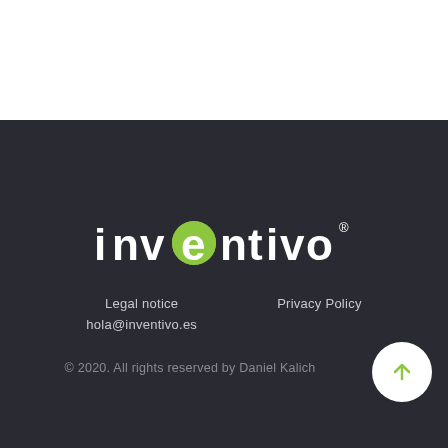[Figure (logo): Inventivo logo in white and green on dark background]
Legal notice
hola@inventivo.es
Privacy Policy
© 2020. All rights reserved by Daniel Kalich